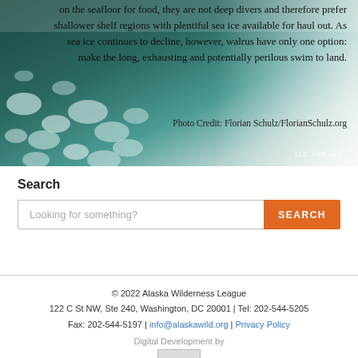[Figure (photo): Aerial or close-up photo of sea ice chunks floating on dark water, with overlaid text about walrus and sea ice decline. Photo credit to Florian Schulz/FlorianSchulz.org. U.S. Fish and Wildlife Service watermark visible.]
on the seafloor for food, they are not deep divers and therefore prefer shallower shelf regions with plentiful sea ice available for haul out. As sea ice continues to decline, however, walrus have only one option: make the long, exhausting and potentially perilous swim to land.
Photo Credit: Florian Schulz/FlorianSchulz.org
Search
Looking for something?
© 2022 Alaska Wilderness League
122 C St NW, Ste 240, Washington, DC 20001 | Tel: 202-544-5205
Fax: 202-544-5197 | info@alaskawild.org | Privacy Policy
Digital Development by